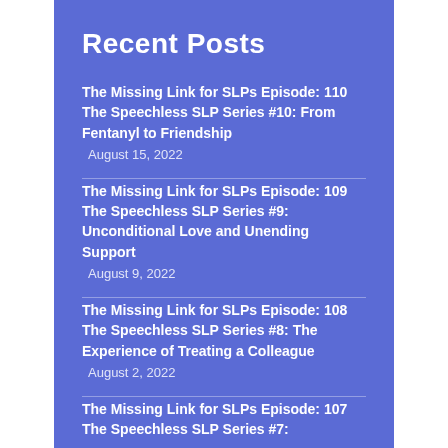Recent Posts
The Missing Link for SLPs Episode: 110 The Speechless SLP Series #10: From Fentanyl to Friendship
August 15, 2022
The Missing Link for SLPs Episode: 109 The Speechless SLP Series #9: Unconditional Love and Unending Support
August 9, 2022
The Missing Link for SLPs Episode: 108 The Speechless SLP Series #8: The Experience of Treating a Colleague
August 2, 2022
The Missing Link for SLPs Episode: 107 The Speechless SLP Series #7: